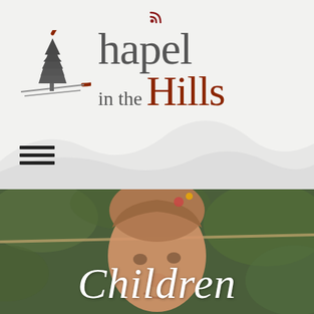[Figure (logo): Chapel in the Hills church logo: brown circular arc with a pine tree silhouette inside, beside the text 'Chapel in the Hills' in gray and brown serif lettering]
[Figure (illustration): Hamburger menu icon: three horizontal black lines]
[Figure (photo): Close-up photo of a young toddler girl with light brown hair, looking up and smiling, with green foliage in the background and a rope visible. White cursive text 'Children' overlaid at the bottom.]
Children